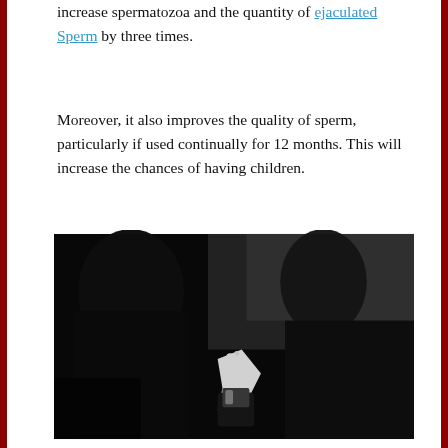increase spermatozoa and the quantity of ejaculated Sperm by three times.
Moreover, it also improves the quality of sperm, particularly if used continually for 12 months. This will increase the chances of having children.
[Figure (photo): Black and white photograph of two silhouetted figures close together, one appearing to drink from a bottle, in a dark moody setting]